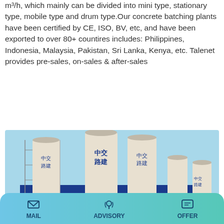m³/h, which mainly can be divided into mini type, stationary type, mobile type and drum type.Our concrete batching plants have been certified by CE, ISO, BV, etc, and have been exported to over 80+ countires includes: Philippines, Indonesia, Malaysia, Pakistan, Sri Lanka, Kenya, etc. Talenet provides pre-sales, on-sales & after-sales
Learn More
[Figure (photo): Industrial concrete batching plant with large cylindrical silos labeled in Chinese characters (中交路建), blue steel structures, and a clear blue sky background.]
MAIL   ADVISORY   OFFER